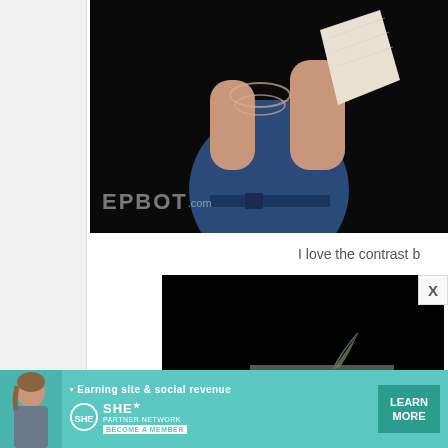[Figure (photo): Woman in blue dress with pearl necklace holding a white paper/book against a dark background. Watermark 'EPBOT.com' visible at bottom left of image.]
I love the contrast b
[Figure (photo): Dark photograph showing a person wearing a dark wide-brimmed hat with a feather/pin, shot against a black background, partially cropped.]
[Figure (infographic): Advertisement banner for SHE Partner Network: 'Earning site & social revenue' with LEARN MORE button and BECOME A MEMBER text.]